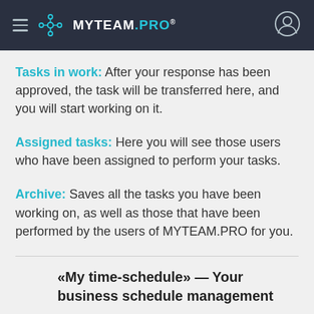MYTEAM.PRO
Tasks in work: After your response has been approved, the task will be transferred here, and you will start working on it.
Assigned tasks: Here you will see those users who have been assigned to perform your tasks.
Archive: Saves all the tasks you have been working on, as well as those that have been performed by the users of MYTEAM.PRO for you.
«My time-schedule» — Your business schedule management
Records in your time-schedule can be of several